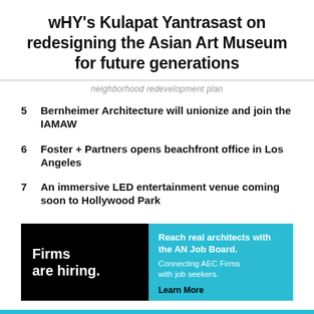wHY's Kulapat Yantrasast on redesigning the Asian Art Museum for future generations
neighborhood redevelopment plan
5  Bernheimer Architecture will unionize and join the IAMAW
6  Foster + Partners opens beachfront office in Los Angeles
7  An immersive LED entertainment venue coming soon to Hollywood Park
[Figure (infographic): Advertisement banner with black left panel reading 'Firms are hiring.' and cyan right panel reading 'Reach real architects with the AN Job Board. Connecting AEC Firms with job seekers. Learn More']